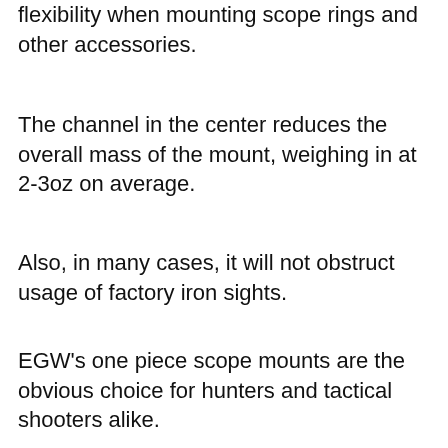flexibility when mounting scope rings and other accessories.
The channel in the center reduces the overall mass of the mount, weighing in at 2-3oz on average.
Also, in many cases, it will not obstruct usage of factory iron sights.
EGW's one piece scope mounts are the obvious choice for hunters and tactical shooters alike.
This mount is a Picatinny-style base and compatible with Picatinny or Weaver scope rings.